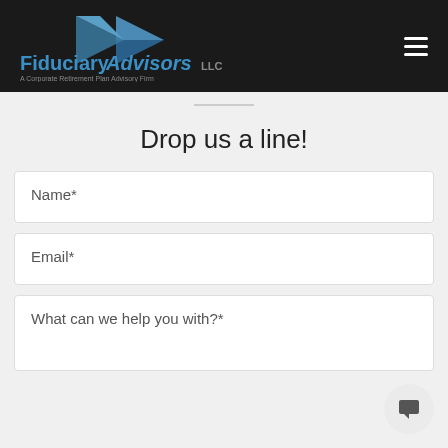[Figure (logo): Fiduciary Advisors LLC logo with blue arrow/bowtie graphic and text 'FiduciaryAdvisors LLC — A Corporate Retirement Plan Advisory Firm' on dark background]
Drop us a line!
Name*
Email*
What can we help you with?*